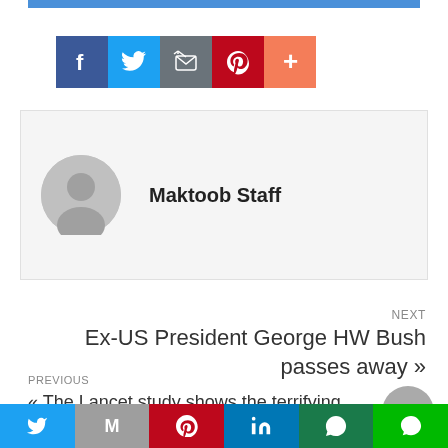[Figure (other): Social share buttons row: Facebook (blue), Twitter (light blue), Email/Mail (dark grey), Pinterest (red), More/Plus (orange-red)]
Maktoob Staff
NEXT
Ex-US President George HW Bush passes away »
PREVIOUS
« The Lancet study shows the terrifying state of Indian climate and its effects
[Figure (other): Bottom social share bar: Twitter, Mail, Pinterest, LinkedIn, WhatsApp, LINE]